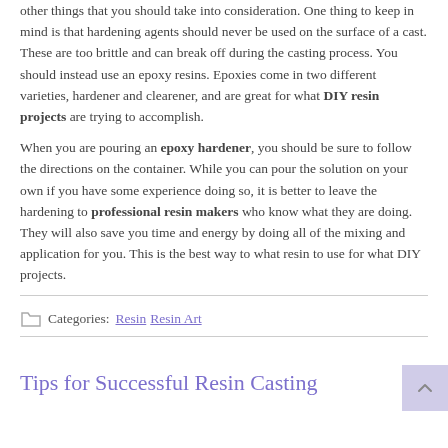other things that you should take into consideration. One thing to keep in mind is that hardening agents should never be used on the surface of a cast. These are too brittle and can break off during the casting process. You should instead use an epoxy resins. Epoxies come in two different varieties, hardener and clearener, and are great for what DIY resin projects are trying to accomplish.
When you are pouring an epoxy hardener, you should be sure to follow the directions on the container. While you can pour the solution on your own if you have some experience doing so, it is better to leave the hardening to professional resin makers who know what they are doing. They will also save you time and energy by doing all of the mixing and application for you. This is the best way to what resin to use for what DIY projects.
Categories: Resin Resin Art
Tips for Successful Resin Casting